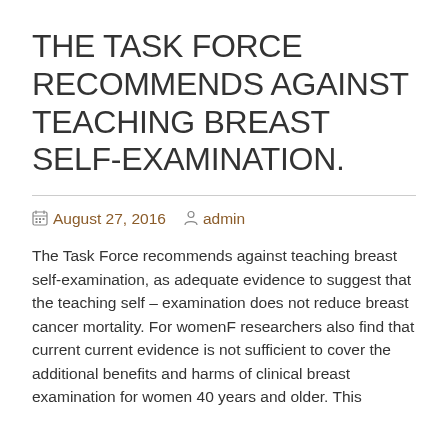THE TASK FORCE RECOMMENDS AGAINST TEACHING BREAST SELF-EXAMINATION.
August 27, 2016   admin
The Task Force recommends against teaching breast self-examination, as adequate evidence to suggest that the teaching self – examination does not reduce breast cancer mortality. For womenF researchers also find that current current evidence is not sufficient to cover the additional benefits and harms of clinical breast examination for women 40 years and older. This